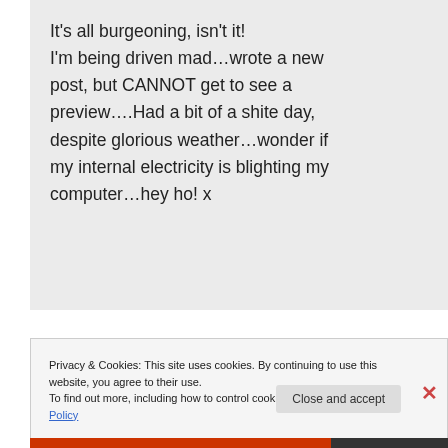It's all burgeoning, isn't it! I'm being driven mad…wrote a new post, but CANNOT get to see a preview….Had a bit of a shite day, despite glorious weather…wonder if my internal electricity is blighting my computer…hey ho! x
Privacy & Cookies: This site uses cookies. By continuing to use this website, you agree to their use. To find out more, including how to control cookies, see here: Cookie Policy